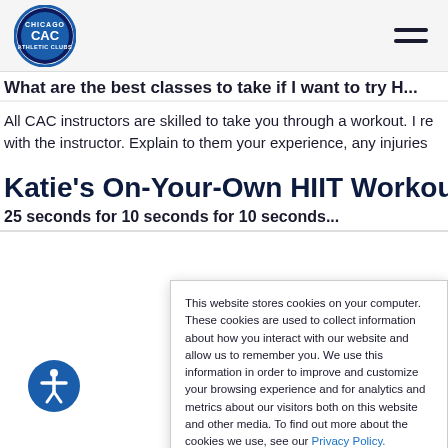CAC - Chicago Athletic Clubs
What are the best classes to take if I want to try H...
All CAC instructors are skilled to take you through a workout. I re with the instructor. Explain to them your experience, any injuries
Katie's On-Your-Own HIIT Workout
25 seconds for 10 seconds for 10 seconds...
This website stores cookies on your computer. These cookies are used to collect information about how you interact with our website and allow us to remember you. We use this information in order to improve and customize your browsing experience and for analytics and metrics about our visitors both on this website and other media. To find out more about the cookies we use, see our Privacy Policy.